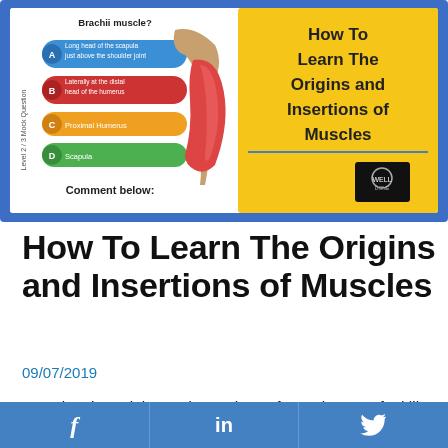[Figure (illustration): Educational anatomy image showing a mock multiple-choice question about the Bicep Brachii muscle with labeled answer options A–D (Long head of the scapula just above the shoulder joint, Laterally at the distal head of the humerus, Proximal Humerus, Scapula), an anatomical diagram of the bicep muscle, and a yellow panel reading 'How To Learn The Origins and Insertions of Muscles' with the text 'Comment below:' at the bottom.]
How To Learn The Origins and Insertions of Muscles
09/07/2019
Learning the Origins and Insertions of Muscles may feel like a big overwhelming revision topic, however, it doesn't have to be. As part of your Level 3 Anatomy and Physiology Exam, there are 50
f   in   (Twitter bird icon)